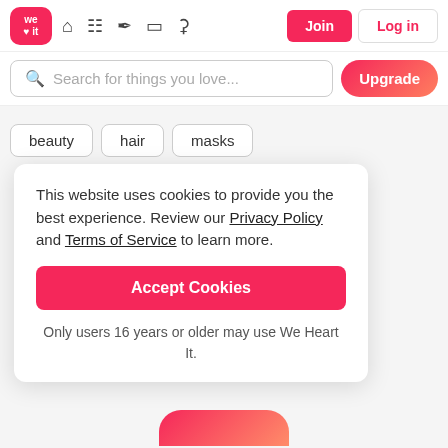We Heart It — navigation bar with logo, icons, Join and Log in buttons
Search for things you love...
Upgrade
beauty
hair
masks
This website uses cookies to provide you the best experience. Review our Privacy Policy and Terms of Service to learn more.
Accept Cookies
Only users 16 years or older may use We Heart It.